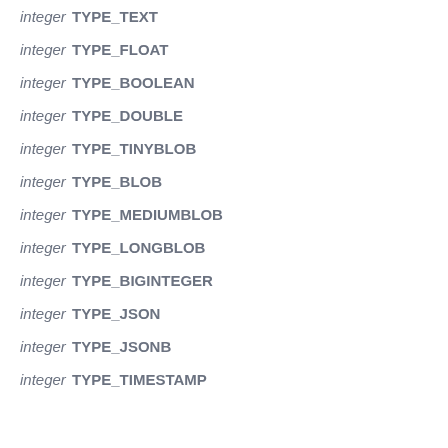integer TYPE_TEXT
integer TYPE_FLOAT
integer TYPE_BOOLEAN
integer TYPE_DOUBLE
integer TYPE_TINYBLOB
integer TYPE_BLOB
integer TYPE_MEDIUMBLOB
integer TYPE_LONGBLOB
integer TYPE_BIGINTEGER
integer TYPE_JSON
integer TYPE_JSONB
integer TYPE_TIMESTAMP